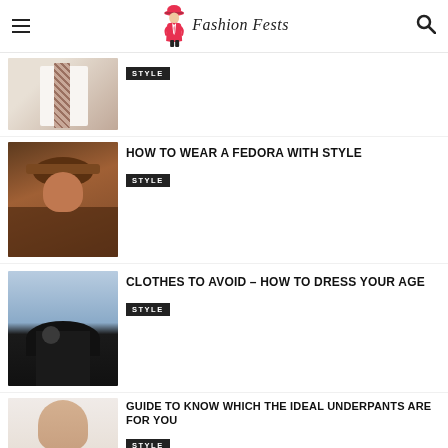Fashion Fests
[Figure (photo): Partial view of a man in a white shirt with a patterned tie, labeled STYLE]
STYLE
[Figure (photo): Man in a fedora hat in a warm-toned setting with hats on the wall]
HOW TO WEAR A FEDORA WITH STYLE
STYLE
[Figure (photo): Man outdoors wearing a black cap and sunglasses]
CLOTHES TO AVOID – HOW TO DRESS YOUR AGE
STYLE
[Figure (photo): Fit man in white underwear]
GUIDE TO KNOW WHICH THE IDEAL UNDERPANTS ARE FOR YOU
STYLE
[Figure (photo): Colorful vegetables and food items]
5 FOODS TO KEEP FIT
LIFESTYLE